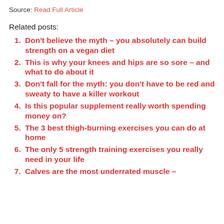Source: Read Full Article
Related posts:
Don't believe the myth – you absolutely can build strength on a vegan diet
This is why your knees and hips are so sore – and what to do about it
Don't fall for the myth: you don't have to be red and sweaty to have a killer workout
Is this popular supplement really worth spending money on?
The 3 best thigh-burning exercises you can do at home
The only 5 strength training exercises you really need in your life
Calves are the most underrated muscle –